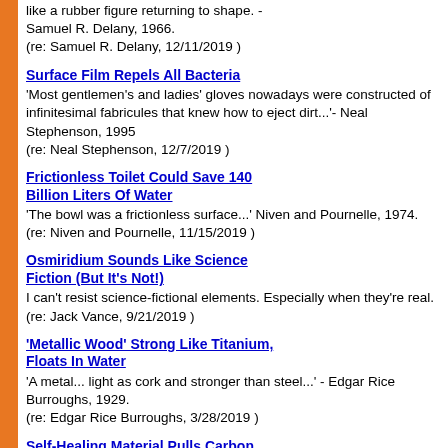like a rubber figure returning to shape. - Samuel R. Delany, 1966.
(re: Samuel R. Delany, 12/11/2019 )
Surface Film Repels All Bacteria — 'Most gentlemen's and ladies' gloves nowadays were constructed of infinitesimal fabricules that knew how to eject dirt...'- Neal Stephenson, 1995
(re: Neal Stephenson, 12/7/2019 )
Frictionless Toilet Could Save 140 Billion Liters Of Water — 'The bowl was a frictionless surface...' Niven and Pournelle, 1974.
(re: Niven and Pournelle, 11/15/2019 )
Osmiridium Sounds Like Science Fiction (But It's Not!) — I can't resist science-fictional elements. Especially when they're real.
(re: Jack Vance, 9/21/2019 )
'Metallic Wood' Strong Like Titanium, Floats In Water — 'A metal... light as cork and stronger than steel...' - Edgar Rice Burroughs, 1929.
(re: Edgar Rice Burroughs, 3/28/2019 )
Self-Healing Material Pulls Carbon Out Of The Air — '... could seal the punctures.' - Raymond